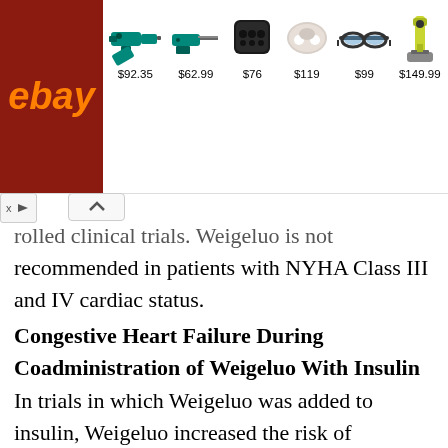[Figure (screenshot): eBay advertisement banner showing various products: power drill set ($92.35), reciprocating saw ($62.99), Bluetooth speaker ($76), wireless earbuds ($119), smart glasses ($99), vacuum cleaner ($149.99)]
rolled clinical trials. Weigeluo is not recommended in patients with NYHA Class III and IV cardiac status.
Congestive Heart Failure During Coadministration of Weigeluo With Insulin
In trials in which Weigeluo was added to insulin, Weigeluo increased the risk of congestive heart failure. Coadministration of Weigeluo and insulin is not recommended.
In 7 controlled, randomized, double-blind trials which had durations from 16 to 26 weeks and which were included in a meta-analysis , patients with type 2 diabetes mellitus were randomized to